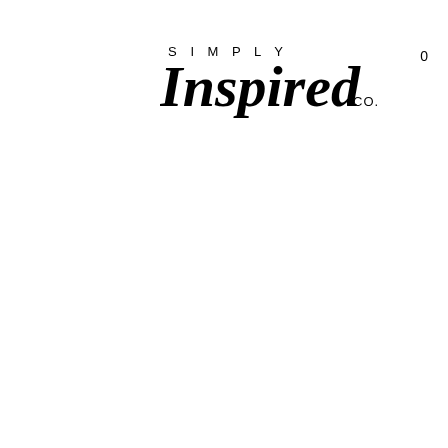[Figure (logo): Simply Inspired Co. logo with script lettering and spaced capital letters for SIMPLY above, Inspired in cursive script, and CO. in small caps]
0